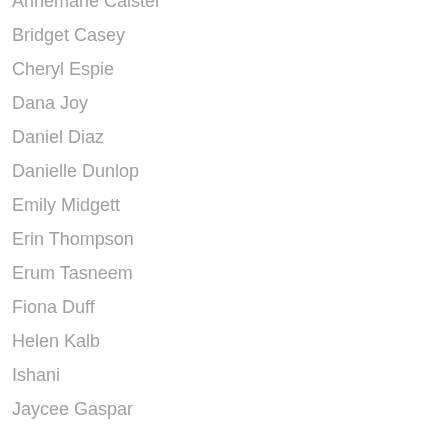Annemarie Caister
Bridget Casey
Cheryl Espie
Dana Joy
Daniel Diaz
Danielle Dunlop
Emily Midgett
Erin Thompson
Erum Tasneem
Fiona Duff
Helen Kalb
Ishani
Jaycee Gaspar